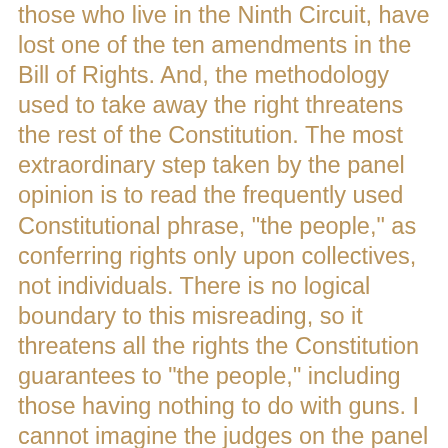those who live in the Ninth Circuit, have lost one of the ten amendments in the Bill of Rights. And, the methodology used to take away the right threatens the rest of the Constitution. The most extraordinary step taken by the panel opinion is to read the frequently used Constitutional phrase, "the people," as conferring rights only upon collectives, not individuals. There is no logical boundary to this misreading, so it threatens all the rights the Constitution guarantees to "the people," including those having nothing to do with guns. I cannot imagine the judges on the panel similarly repealing the Fourth Amendment's protection of the right of "the people" to be secure against unreasonable searches and seizures, or the right of "the people" to freedom of assembly, but times and personnel change, so that this right and all the other rights of "the people" are jeopardized by planting this weed in our Constitutional garden. - Judge Andrew Jay Kleinfeld, dissenting, also from Silveira v Lockyer denial to re-hear en banc, 9th Circuit Court of Appeals, (2003)